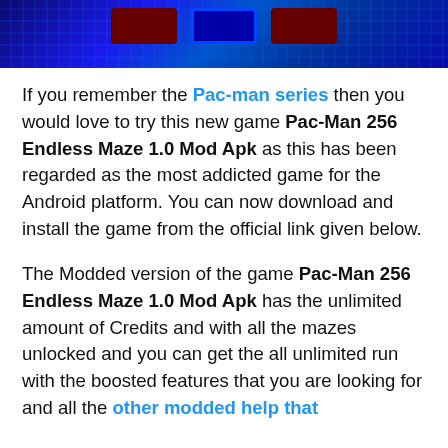[Figure (photo): Screenshot of Pac-Man game with blue maze/grid background]
If you remember the Pac-man series then you would love to try this new game Pac-Man 256 Endless Maze 1.0 Mod Apk as this has been regarded as the most addicted game for the Android platform. You can now download and install the game from the official link given below.
The Modded version of the game Pac-Man 256 Endless Maze 1.0 Mod Apk has the unlimited amount of Credits and with all the mazes unlocked and you can get the all unlimited run with the boosted features that you are looking for and all the other modded help that